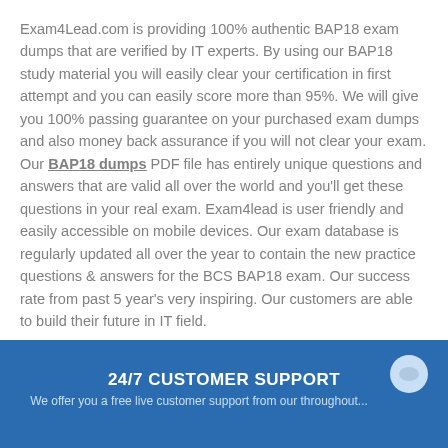Exam4Lead.com is providing 100% authentic BAP18 exam dumps that are verified by IT experts. By using our BAP18 study material you will easily clear your certification in first attempt and you can easily score more than 95%. We will give you 100% passing guarantee on your purchased exam dumps and also money back assurance if you will not clear your exam. Our BAP18 dumps PDF file has entirely unique questions and answers that are valid all over the world and you'll get these questions in your real exam. Exam4lead is user friendly and easily accessible on mobile devices. Our exam database is regularly updated all over the year to contain the new practice questions & answers for the BCS BAP18 exam. Our success rate from past 5 year's very inspiring. Our customers are able to build their future in IT field.
24/7 CUSTOMER SUPPORT
We offer you a free live customer support from our throughout...